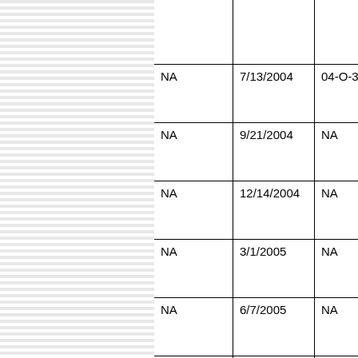|  | Date | Case Number |
| --- | --- | --- |
|  |  |  |
| NA | 7/13/2004 | 04-O-3(cut off) |
| NA | 9/21/2004 | NA |
| NA | 12/14/2004 | NA |
| NA | 3/1/2005 | NA |
| NA | 6/7/2005 | NA |
| NA | 10/5/2005 | NA |